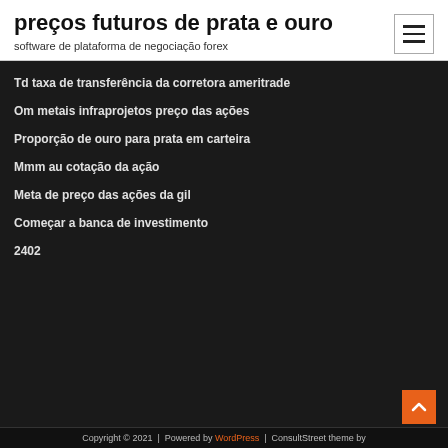preços futuros de prata e ouro
software de plataforma de negociação forex
Td taxa de transferência da corretora ameritrade
Om metais infraprojetos preço das ações
Proporção de ouro para prata em carteira
Mmm au cotação da ação
Meta de preço das ações da gil
Começar a banca de investimento
2402
Copyright © 2021 | Powered by WordPress | ConsultStreet theme by